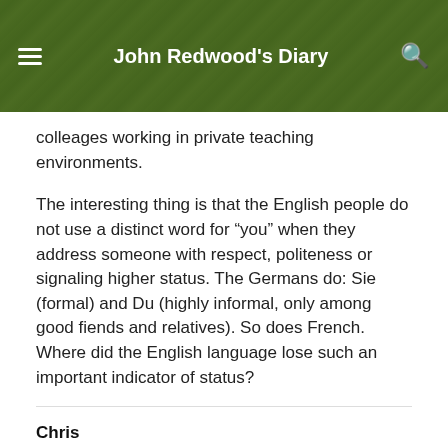John Redwood's Diary
colleages working in private teaching environments.
The interesting thing is that the English people do not use a distinct word for “you” when they address someone with respect, politeness or signaling higher status. The Germans do: Sie (formal) and Du (highly informal, only among good fiends and relatives). So does French. Where did the English language lose such an important indicator of status?
Chris
October 22, 2018
Just a few ideas:
Get rid of the Marxist influence in the teacher training